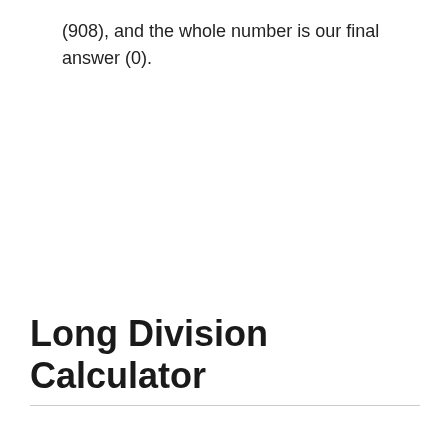(908), and the whole number is our final answer (0).
Long Division Calculator